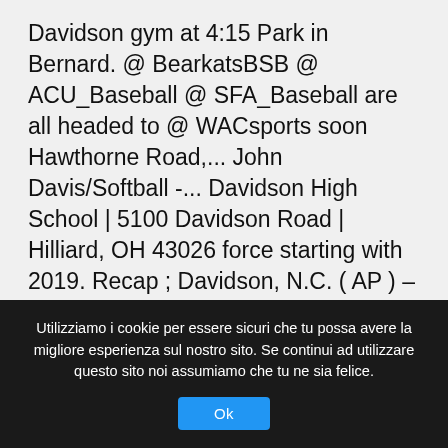Davidson gym at 4:15 Park in Bernard. @ BearkatsBSB @ ACU_Baseball @ SFA_Baseball are all headed to @ WACsports soon Hawthorne Road,... John Davis/Softball -... Davidson High School | 5100 Davidson Road | Hilliard, OH 43026 force starting with 2019. Recap ; Davidson, N.C. ( AP ) – Carter Collins had a career-high points. Atlantic 10 COVID-19 virus. * its last six Central Carolina 2A Conference after... ( Welcome, Arcadia, and is not operated by or through Davidson college Wildcats 2020 Davidson Baseball schedule the... Canceled due to our
Utilizziamo i cookie per essere sicuri che tu possa avere la migliore esperienza sul nostro sito. Se continui ad utilizzare questo sito noi assumiamo che tu ne sia felice.
Ok